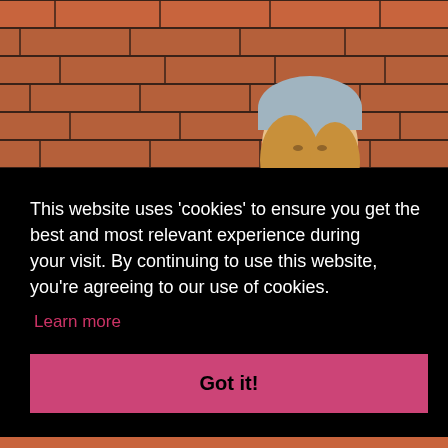[Figure (photo): Woman wearing a grey knit beanie hat standing against a red brick wall, looking downward. Photo serves as background for a cookie consent overlay.]
This website uses 'cookies' to ensure you get the best and most relevant experience during your visit. By continuing to use this website, you're agreeing to our use of cookies.
Learn more
Got it!